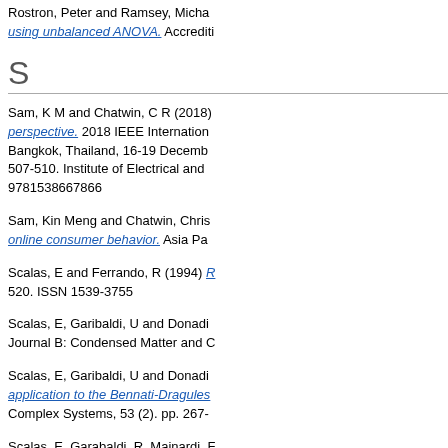Rostron, Peter and Ramsey, Michael ... using unbalanced ANOVA. Accreditation...
S
Sam, K M and Chatwin, C R (2018) ... perspective. 2018 IEEE International ... Bangkok, Thailand, 16-19 December ... 507-510. Institute of Electrical and ... 9781538667866
Sam, Kin Meng and Chatwin, Chris ... online consumer behavior. Asia Pa...
Scalas, E and Ferrando, R (1994) ... 520. ISSN 1539-3755
Scalas, E, Garibaldi, U and Donadi... Journal B: Condensed Matter and C...
Scalas, E, Garibaldi, U and Donadi... application to the Bennati-Dragules... Complex Systems, 53 (2). pp. 267-
Scalas, E, Garabaldi, R, Mainardi, F...